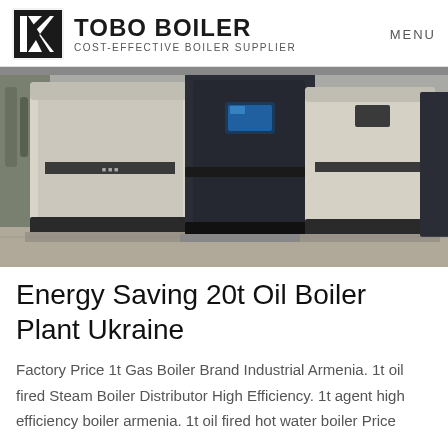TOBO BOILER — COST-EFFECTIVE BOILER SUPPLIER | MENU
[Figure (photo): Three large industrial boiler units in a boiler plant room. The units are tall, boxy machines in cream/white and dark navy/black colors with control panels and displays on the front face. They are arranged side by side on a concrete floor in an industrial facility.]
Energy Saving 20t Oil Boiler Plant Ukraine
Factory Price 1t Gas Boiler Brand Industrial Armenia. 1t oil fired Steam Boiler Distributor High Efficiency. 1t agent high efficiency boiler armenia. 1t oil fired hot water boiler Price